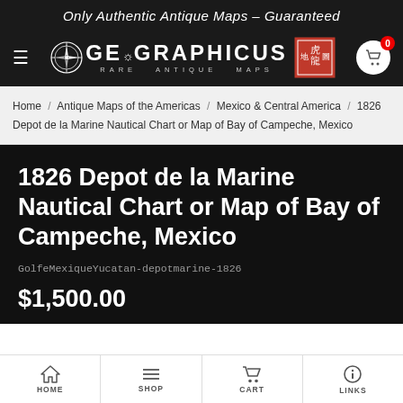Only Authentic Antique Maps – Guaranteed
[Figure (logo): Geographicus Rare Antique Maps logo with compass rose, Chinese stamp, and shopping cart icon showing 0 items]
Home / Antique Maps of the Americas / Mexico & Central America / 1826 Depot de la Marine Nautical Chart or Map of Bay of Campeche, Mexico
1826 Depot de la Marine Nautical Chart or Map of Bay of Campeche, Mexico
GolfeMexiqueYucatan-depotmarine-1826
$1,500.00
HOME   SHOP   CART   LINKS